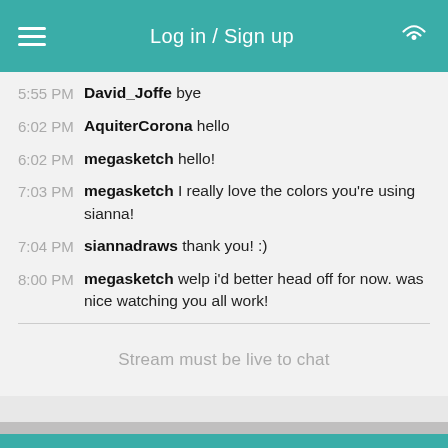Log in / Sign up
5:55 PM  David_Joffe  bye
6:02 PM  AquiterCorona  hello
6:02 PM  megasketch  hello!
7:03 PM  megasketch  I really love the colors you're using sianna!
7:04 PM  siannadraws  thank you! :)
8:00 PM  megasketch  welp i'd better head off for now. was nice watching you all work!
Stream must be live to chat
AQUITERCORONA
SUMMARY